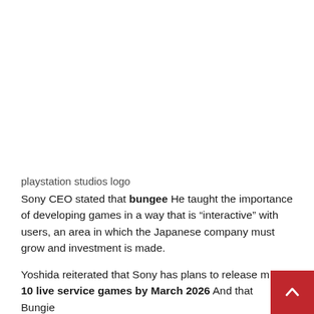[Figure (photo): PlayStation Studios logo image area (white/blank)]
playstation studios logo
Sony CEO stated that bungee He taught the importance of developing games in a way that is “interactive” with users, an area in which the Japanese company must grow and investment is made.
Yoshida reiterated that Sony has plans to release more than 10 live service games by March 2026 And that Bungie is a strategic component of fundamental importance also